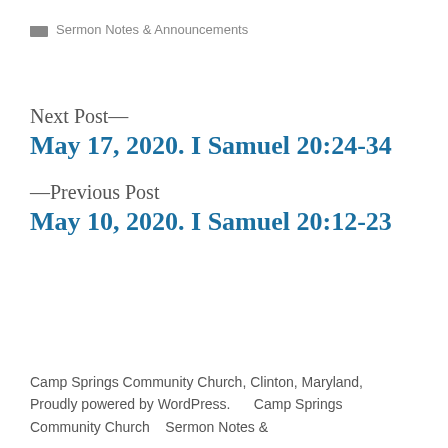Sermon Notes & Announcements
Next Post—
May 17, 2020. I Samuel 20:24-34
—Previous Post
May 10, 2020. I Samuel 20:12-23
Camp Springs Community Church, Clinton, Maryland, Proudly powered by WordPress.      Camp Springs Community Church      Sermon Notes &